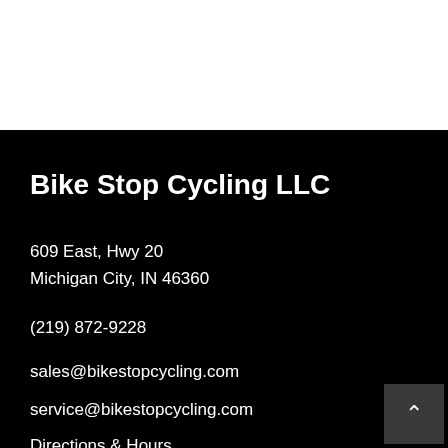Bike Stop Cycling LLC
609 East, Hwy 20
Michigan City, IN 46360
(219) 872-9228
sales@bikestopcycling.com
service@bikestopcycling.com
Directions & Hours